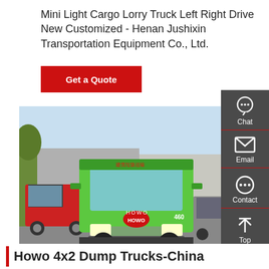Mini Light Cargo Lorry Truck Left Right Drive New Customized - Henan Jushixin Transportation Equipment Co., Ltd.
Get a Quote
[Figure (photo): Front view of a green Howo heavy cargo truck parked in a yard, with a red truck visible on the left and other trucks in the background. A building and trees are visible behind. Red Chinese text on the cab roof.]
Howo 4x2 Dump Trucks-China